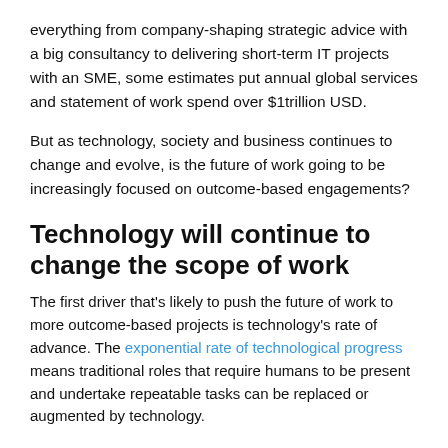everything from company-shaping strategic advice with a big consultancy to delivering short-term IT projects with an SME, some estimates put annual global services and statement of work spend over $1trillion USD.
But as technology, society and business continues to change and evolve, is the future of work going to be increasingly focused on outcome-based engagements?
Technology will continue to change the scope of work
The first driver that's likely to push the future of work to more outcome-based projects is technology's rate of advance. The exponential rate of technological progress means traditional roles that require humans to be present and undertake repeatable tasks can be replaced or augmented by technology.